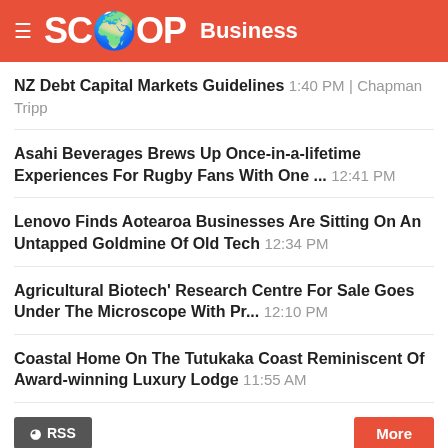SCOOP Business
NZ Debt Capital Markets Guidelines 1:40 PM | Chapman Tripp
Asahi Beverages Brews Up Once-in-a-lifetime Experiences For Rugby Fans With One ... 12:41 PM
Lenovo Finds Aotearoa Businesses Are Sitting On An Untapped Goldmine Of Old Tech 12:34 PM
Agricultural Biotech' Research Centre For Sale Goes Under The Microscope With Pr... 12:10 PM
Coastal Home On The Tutukaka Coast Reminiscent Of Award-winning Luxury Lodge 11:55 AM
BUSINESS SCITECH SECTION
BUSINESS
Business scoop